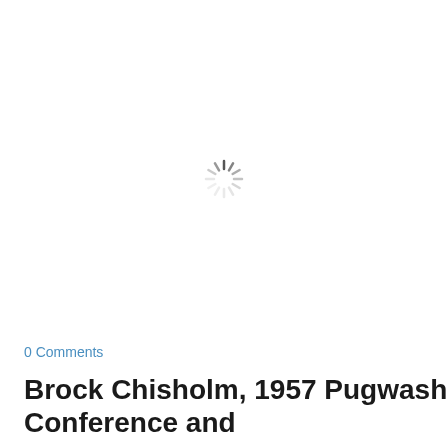[Figure (other): Loading spinner icon — a circular arrangement of short radial lines in gray, resembling a sun/loading indicator, centered in the upper portion of the page]
0 Comments
Brock Chisholm, 1957 Pugwash Conference and